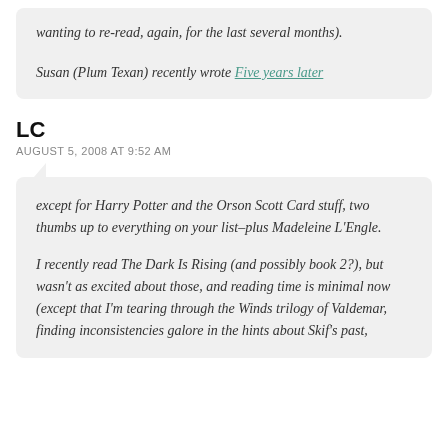wanting to re-read, again, for the last several months).
Susan (Plum Texan) recently wrote Five years later
LC
AUGUST 5, 2008 AT 9:52 AM
except for Harry Potter and the Orson Scott Card stuff, two thumbs up to everything on your list–plus Madeleine L'Engle.
I recently read The Dark Is Rising (and possibly book 2?), but wasn't as excited about those, and reading time is minimal now (except that I'm tearing through the Winds trilogy of Valdemar, finding inconsistencies galore in the hints about Skif's past,